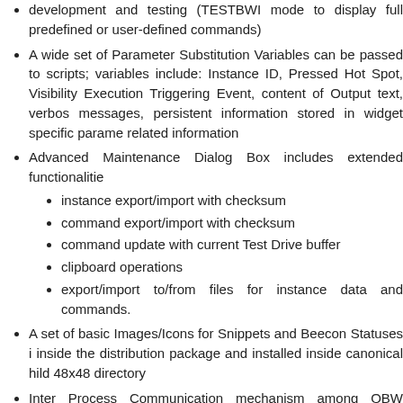development and testing (TESTBWI mode to display full predefined or user-defined commands)
A wide set of Parameter Substitution Variables can be passed to scripts; variables include: Instance ID, Pressed Hot Spot, Visibility Execution Triggering Event, content of Output text, verbos messages, persistent information stored in widget specific parame related information
Advanced Maintenance Dialog Box includes extended functionalities
instance export/import with checksum
command export/import with checksum
command update with current Test Drive buffer
clipboard operations
export/import to/from files for instance data and commands.
A set of basic Images/Icons for Snippets and Beecon Statuses inside the distribution package and installed inside canonical hild 48x48 directory
Inter Process Communication mechanism among QBW instances other Applications has been implemented through DBUS me signals handling
It is integrated into the N900 system backup/restore features ac standard specifications as better described in the SDK documenta